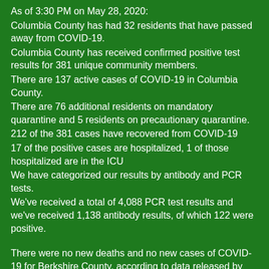As of 3:30 PM on May 28, 2020:
Columbia County has had 32 residents that have passed away from COVID-19.
Columbia County has received confirmed positive test results for 381 unique community members.
There are 137 active cases of COVID-19 in Columbia County.
There are 76 additional residents on mandatory quarantine and 5 residents on precautionary quarantine.
212 of the 381 cases have recovered from COVID-19
17 of the positive cases are hospitalized, 1 of those hospitalized are in the ICU
We have categorized our results by antibody and PCR tests.
We've received a total of 4,088 PCR test results and we've received 1,138 antibody results, of which 122 were positive.
There were no new deaths and no new cases of COVID-19 for Berkshire County, according to data released by the state Thursday. Another person died and two more were sickened in Berkshire County from COVID-19, according to data released by the state Wednesday. The number of county people killed by the disease is now 40; the county cases of the coronavirus are at 539, up two from the day prior. The state Department of Public